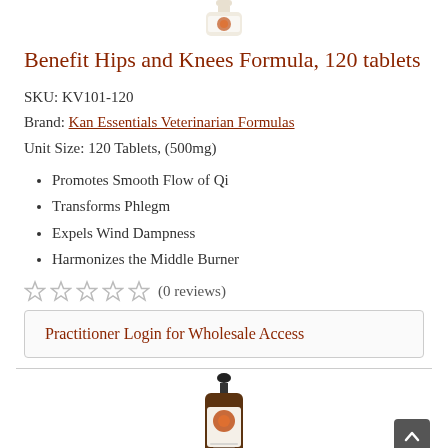[Figure (photo): Top portion of a supplement bottle (Kan Essentials product) visible at the top of the page]
Benefit Hips and Knees Formula, 120 tablets
SKU: KV101-120
Brand: Kan Essentials Veterinarian Formulas
Unit Size: 120 Tablets, (500mg)
Promotes Smooth Flow of Qi
Transforms Phlegm
Expels Wind Dampness
Harmonizes the Middle Burner
(0 reviews)
Practitioner Login for Wholesale Access
[Figure (photo): A dropper bottle of Kan Essentials product visible at bottom of page]